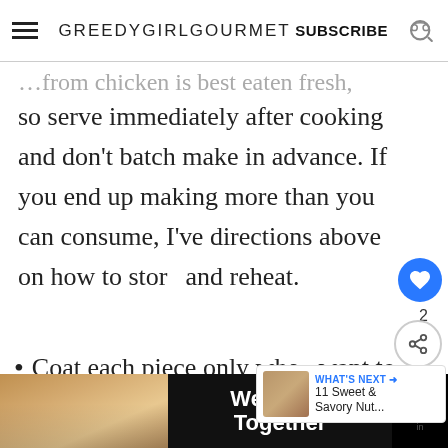GREEDYGIRLGOURMET  SUBSCRIBE
so serve immediately after cooking and don't batch make in advance. If you end up making more than you can consume, I've directions above on how to store and reheat.
Coat each piece only when you want to eat it, if not the topping